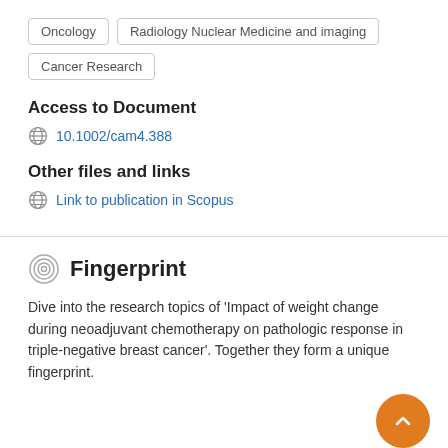Oncology
Radiology Nuclear Medicine and imaging
Cancer Research
Access to Document
10.1002/cam4.388
Other files and links
Link to publication in Scopus
Fingerprint
Dive into the research topics of 'Impact of weight change during neoadjuvant chemotherapy on pathologic response in triple-negative breast cancer'. Together they form a unique fingerprint.